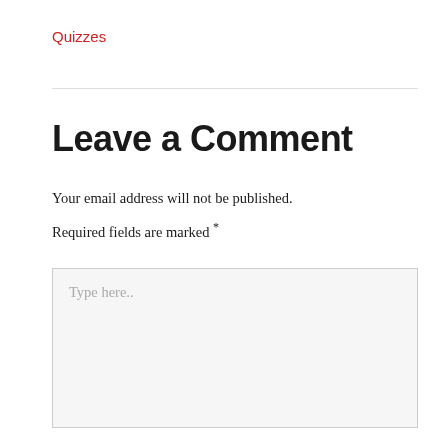Quizzes
Leave a Comment
Your email address will not be published. Required fields are marked *